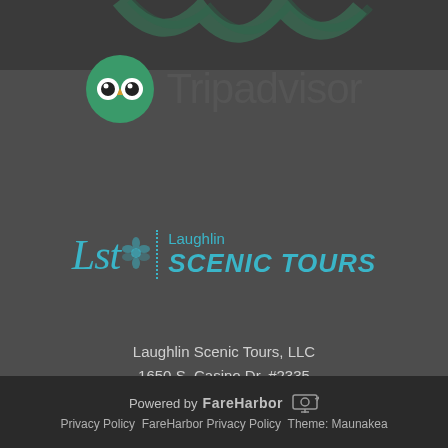[Figure (logo): Tripadvisor logo with owl icon and text]
[Figure (logo): Laughlin Scenic Tours (LST) logo with cyan script and bold text]
Laughlin Scenic Tours, LLC
1650 S. Casino Dr. #2335
Laughlin, NV 89029

Phone: 725-230-1136
Powered by FareHarbor   Privacy Policy FareHarbor Privacy Policy Theme: Maunakea